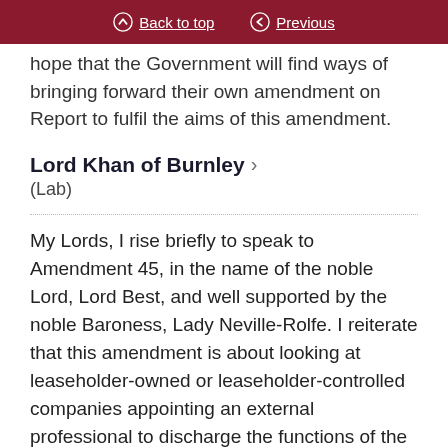Back to top  Previous
hope that the Government will find ways of bringing forward their own amendment on Report to fulfil the aims of this amendment.
Lord Khan of Burnley
(Lab)
My Lords, I rise briefly to speak to Amendment 45, in the name of the noble Lord, Lord Best, and well supported by the noble Baroness, Lady Neville-Rolfe. I reiterate that this amendment is about looking at leaseholder-owned or leaseholder-controlled companies appointing an external professional to discharge the functions of the accountable person or principal accountable person. The amendment also talks about costs and